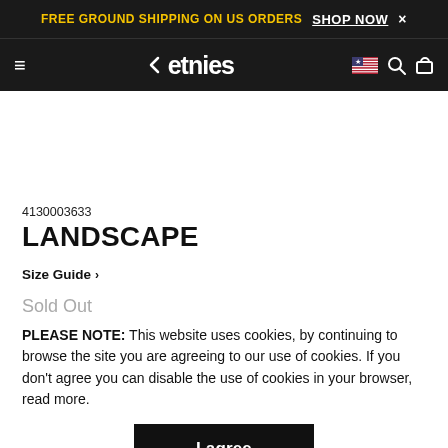FREE GROUND SHIPPING ON US ORDERS  SHOP NOW ×
≡  ←etnies  🇺🇸 🔍 🛒
4130003633
LANDSCAPE
Size Guide >
Sold Out
PLEASE NOTE: This website uses cookies, by continuing to browse the site you are agreeing to our use of cookies. If you don't agree you can disable the use of cookies in your browser, read more.
I agree
Color